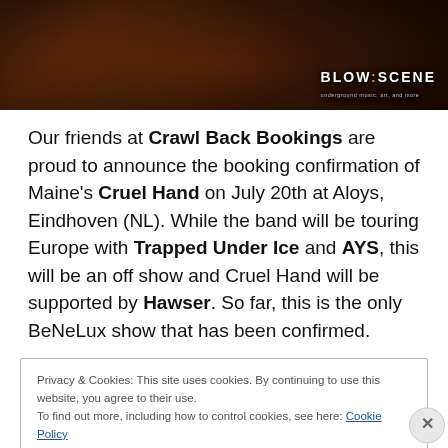[Figure (photo): Concert/band photo with dark reddish-brown tones, showing a stage or floor scene. 'BLOW THE SCENE' logo watermark visible in the lower right.]
Our friends at Crawl Back Bookings are proud to announce the booking confirmation of Maine's Cruel Hand on July 20th at Aloys, Eindhoven (NL). While the band will be touring Europe with Trapped Under Ice and AYS, this will be an off show and Cruel Hand will be supported by Hawser. So far, this is the only BeNeLux show that has been confirmed.
Privacy & Cookies: This site uses cookies. By continuing to use this website, you agree to their use.
To find out more, including how to control cookies, see here: Cookie Policy
[Close and accept]